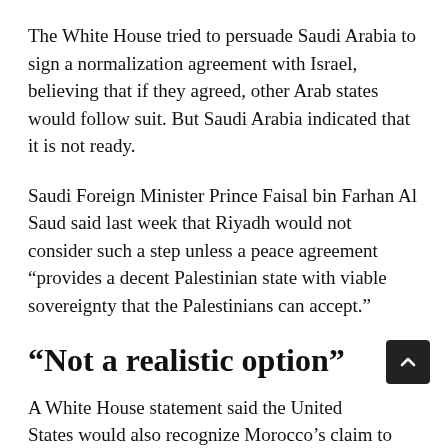The White House tried to persuade Saudi Arabia to sign a normalization agreement with Israel, believing that if they agreed, other Arab states would follow suit. But Saudi Arabia indicated that it is not ready.
Saudi Foreign Minister Prince Faisal bin Farhan Al Saud said last week that Riyadh would not consider such a step unless a peace agreement “provides a decent Palestinian state with viable sovereignty that the Palestinians can accept.”
“Not a realistic option”
A White House statement said the United States would also recognize Morocco’s claim to Western Sahara, the former Spanish region of North Africa that has been a